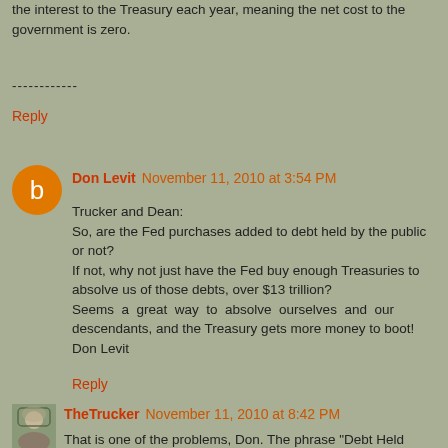the interest to the Treasury each year, meaning the net cost to the government is zero.
------------
Reply
Don Levit  November 11, 2010 at 3:54 PM
Trucker and Dean:
So, are the Fed purchases added to debt held by the public or not?
If not, why not just have the Fed buy enough Treasuries to absolve us of those debts, over $13 trillion?
Seems a great way to absolve ourselves and our descendants, and the Treasury gets more money to boot!
Don Levit
Reply
TheTrucker  November 11, 2010 at 8:42 PM
That is one of the problems, Don. The phrase "Debt Held